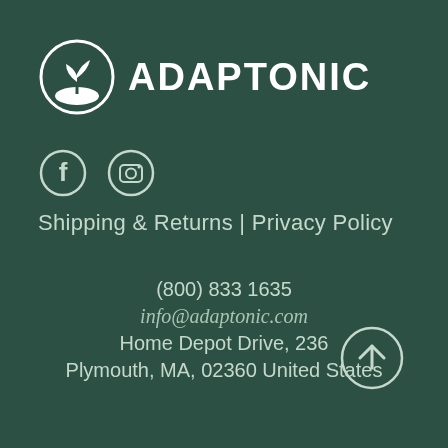[Figure (logo): Adaptonic logo: white circle with plant/sprout icon and leaves, followed by bold white text ADAPTONIC]
[Figure (illustration): Two social media icons: Facebook (f) and Instagram (camera) in white circles on dark green background]
Shipping & Returns | Privacy Policy
(800) 833 1635
info@adaptonic.com
Home Depot Drive, 236
Plymouth, MA, 02360 United States
[Figure (illustration): Back to top button: white circle with upward arrow]